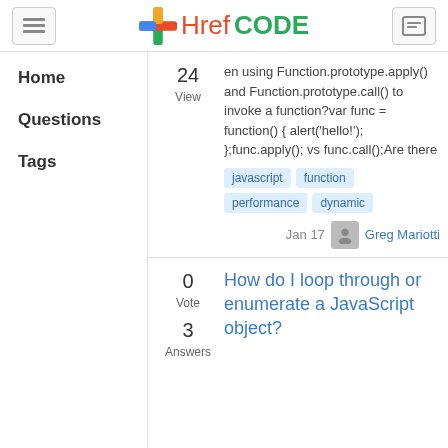Href CODE
Home
Questions
Tags
24 View — en using Function.prototype.apply() and Function.prototype.call() to invoke a function?var func = function() { alert('hello!'); };func.apply(); vs func.call();Are there
Tags: javascript, function, performance, dynamic
Jan 17 Greg Mariotti
0 Vote, 3 Answers
How do I loop through or enumerate a JavaScript object?